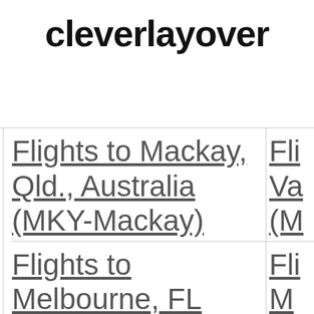cleverlayover
Flights to Mackay, Qld., Australia (MKY-Mackay)
Flights to Melbourne, FL
Flights to Va... (M...